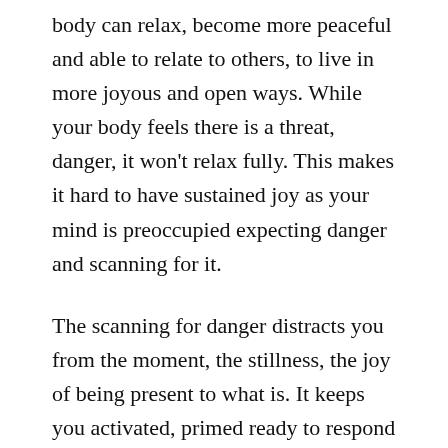body can relax, become more peaceful and able to relate to others, to live in more joyous and open ways. While your body feels there is a threat, danger, it won't relax fully. This makes it hard to have sustained joy as your mind is preoccupied expecting danger and scanning for it.
The scanning for danger distracts you from the moment, the stillness, the joy of being present to what is. It keeps you activated, primed ready to respond to whatever does occur. It can be exhausting even though nothing bad is actually happening.
You can use Tension and Trauma Release Exercises (TRE) and other embodiment activities to help you to clear out the stress, tension and trauma in your body, so it is easier for you to be in the now, to relax and to enjoy life. TRE activates the body's natural, inbuilt